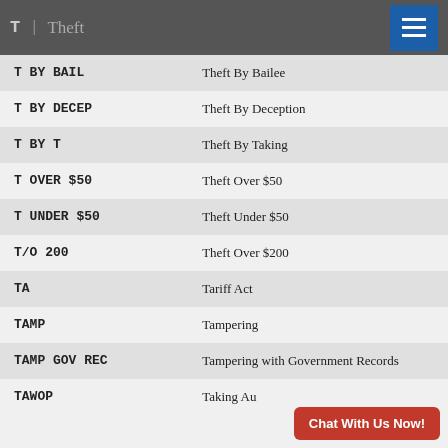T | Theft
| Code | Description |
| --- | --- |
| T BY BAIL | Theft By Bailee |
| T BY DECEP | Theft By Deception |
| T BY T | Theft By Taking |
| T OVER $50 | Theft Over $50 |
| T UNDER $50 | Theft Under $50 |
| T/O 200 | Theft Over $200 |
| TA | Tariff Act |
| TAMP | Tampering |
| TAMP GOV REC | Tampering with Government Records |
| TAWOP | Taking Au... |
Chat With Us Now!